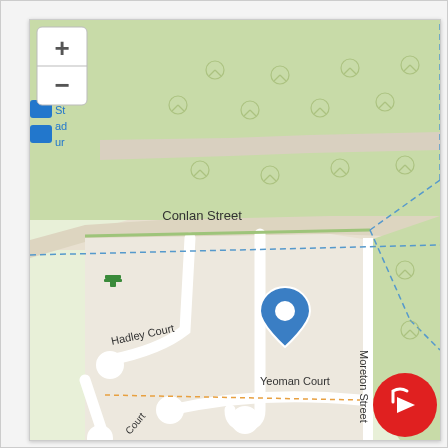[Figure (map): Street map showing Conlan Street, Colburn Court, Hadley Court, Yeoman Court, and Moreton Street. A blue location pin marker is placed in the area near Colburn Court. Green parkland areas with tree symbols surround the streets. Blue dashed lines indicate boundary or route. A red circular icon appears in the bottom right corner. Zoom in (+) and zoom out (-) controls are shown in the top left.]